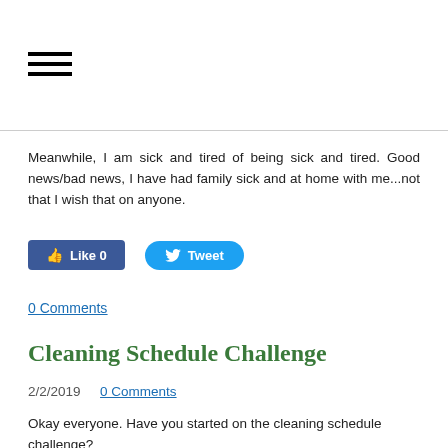[Figure (other): Hamburger menu icon — three horizontal black lines]
Meanwhile, I am sick and tired of being sick and tired. Good news/bad news, I have had family sick and at home with me...not that I wish that on anyone.
[Figure (other): Social sharing buttons: blue Facebook Like button showing '0' and blue Twitter Tweet button]
0 Comments
Cleaning Schedule Challenge
2/2/2019  0 Comments
Okay everyone. Have you started on the cleaning schedule challenge?
You should be recording what you do and what you need to do (that you